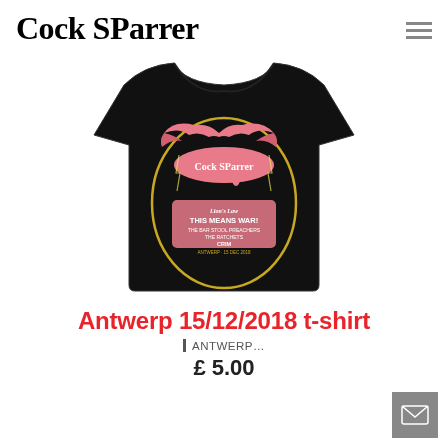Cock SParrer
[Figure (photo): A black t-shirt with a Cock SParrer concert graphic showing pink wings, band logo, and text reading 'Lion's Law, THIS MEANS WAR!, THE BAR STOOL PREACHERS, THE RATCHETS, CRIM, ANTWERP · 15 DEC 2018']
Antwerp 15/12/2018 t-shirt
| ANTWERP...
£ 5.00